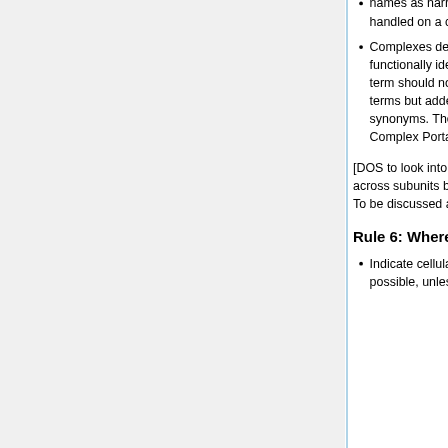names as narrow synonyms. This should be handled on a case-by-case basis.
Complexes defined by their subunits but functionally identical to a more generic parent term should not be created as separate GO terms but added to the parent term as narrow synonyms. The specific complex belongs in the Complex Portal.
[DOS to look into some automatic reasoning across subunits but we think it may become tricky. To be discussed among editors.]
Rule 6: Where is the complex located?
Indicate cellular location as specifically as possible, unless